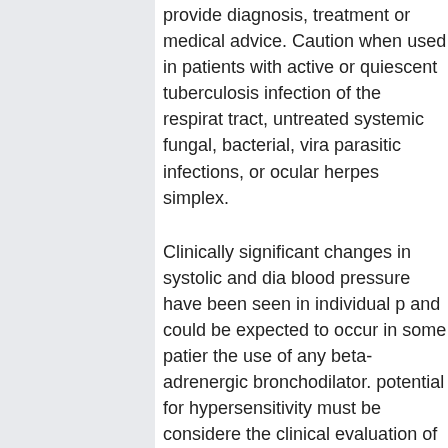provide diagnosis, treatment or medical advice. Caution when used in patients with active or quiescent tuberculosis infection of the respiratory tract, untreated systemic fungal, bacterial, viral, parasitic infections, or ocular herpes simplex.
Clinically significant changes in systolic and diastolic blood pressure have been seen in individual patients and could be expected to occur in some patients with the use of any beta-adrenergic bronchodilator. The potential for hypersensitivity must be considered in the clinical evaluation of patients who experience immediate hypersensitivity reactions while receiving levosalbutamol Levosalbutamol, like all sympathomimetic amines, should be used with caution in patients with cardiovascular disorders, especially coronary insufficiency, hypertension, and cardiac arrhythmias; in foracort 100 inhaler uses convulsive disorders, hyperthyroidism, or diabetes mellitus; and in patients who are unusually responsive to foracort 100 inhaler uses amines.